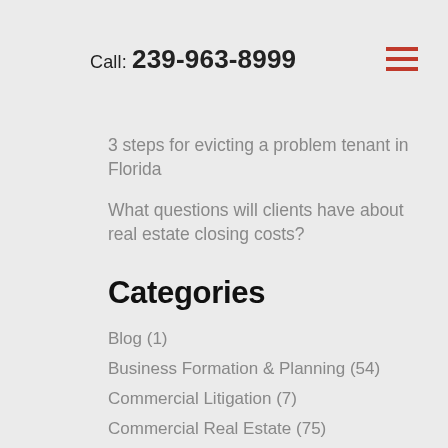Call: 239-963-8999
3 steps for evicting a problem tenant in Florida
What questions will clients have about real estate closing costs?
Categories
Blog (1)
Business Formation & Planning (54)
Commercial Litigation (7)
Commercial Real Estate (75)
Construction (42)
Corporate & Tax Law (2)
Employment Law (2)